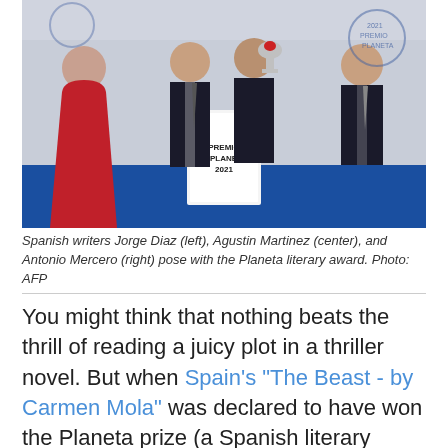[Figure (photo): Three Spanish writers posing at the Premio Planeta 2021 award ceremony. A woman in a red dress stands on the left, two men in dark suits stand in the center and right, one holding a trophy. A white podium with 'PREMIO PLANETA 2021' is visible in the center, with blue backdrop and award logos.]
Spanish writers Jorge Diaz (left), Agustin Martinez (center), and Antonio Mercero (right) pose with the Planeta literary award. Photo: AFP
You might think that nothing beats the thrill of reading a juicy plot in a thriller novel. But when Spain's "The Beast - by Carmen Mola" was declared to have won the Planeta prize (a Spanish literary award for unpublished novels) in October 2021, the author's reveal turned out to be even more surprising than the plot of the thriller book...